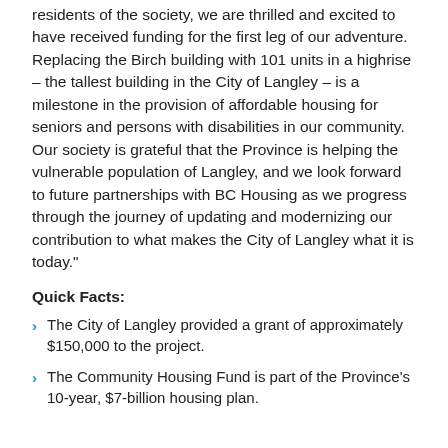residents of the society, we are thrilled and excited to have received funding for the first leg of our adventure. Replacing the Birch building with 101 units in a highrise – the tallest building in the City of Langley – is a milestone in the provision of affordable housing for seniors and persons with disabilities in our community. Our society is grateful that the Province is helping the vulnerable population of Langley, and we look forward to future partnerships with BC Housing as we progress through the journey of updating and modernizing our contribution to what makes the City of Langley what it is today."
Quick Facts:
The City of Langley provided a grant of approximately $150,000 to the project.
The Community Housing Fund is part of the Province's 10-year, $7-billion housing plan.